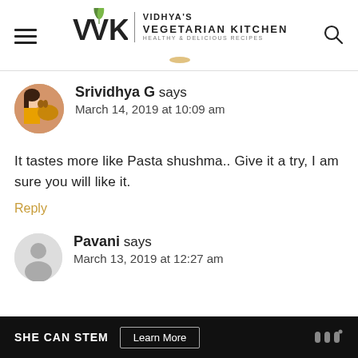[Figure (logo): Vidhya's Vegetarian Kitchen logo with VVK text and leaf icon, plus hamburger menu and search icon]
Srividhya G says
March 14, 2019 at 10:09 am
It tastes more like Pasta shushma.. Give it a try, I am sure you will like it.
Reply
Pavani says
March 13, 2019 at 12:27 am
SHE CAN STEM  Learn More